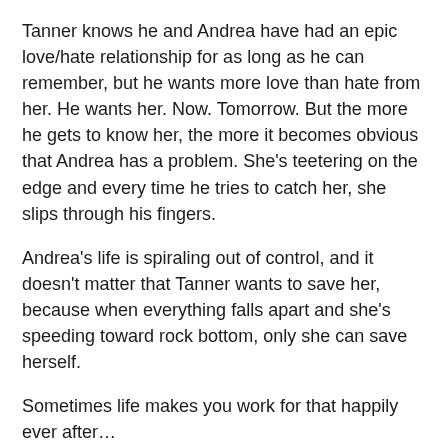Tanner knows he and Andrea have had an epic love/hate relationship for as long as he can remember, but he wants more love than hate from her. He wants her. Now. Tomorrow. But the more he gets to know her, the more it becomes obvious that Andrea has a problem. She’s teetering on the edge and every time he tries to catch her, she slips through his fingers.
Andrea’s life is spiraling out of control, and it doesn’t matter that Tanner wants to save her, because when everything falls apart and she’s speeding toward rock bottom, only she can save herself.
Sometimes life makes you work for that happily ever after…
My Opinion
Andrea is Sydney’s old roommate and gal bestie. Tanner is Kyler’s best friends. The four of them hang out a lot. Tanner and Andrea do not get along- no one really knows why though. One night while out Andrea has a little too much to drink. Tanner steps up and takes care of her. This makes